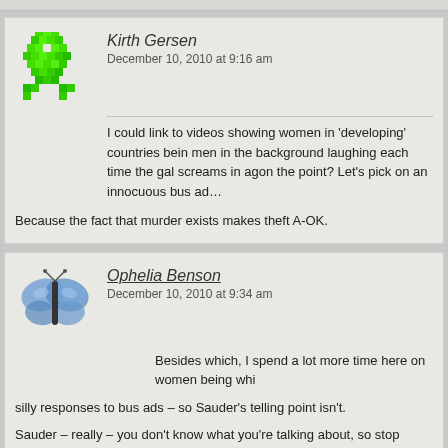Kirth Gersen
December 10, 2010 at 9:16 am
I could link to videos showing women in 'developing' countries being men in the background laughing each time the gal screams in agony the point? Let's pick on an innocuous bus ad…
Because the fact that murder exists makes theft A-OK.
Ophelia Benson
December 10, 2010 at 9:34 am
Besides which, I spend a lot more time here on women being whi silly responses to bus ads – so Sauder's telling point isn't.
Sauder – really – you don't know what you're talking about, so stop talking a